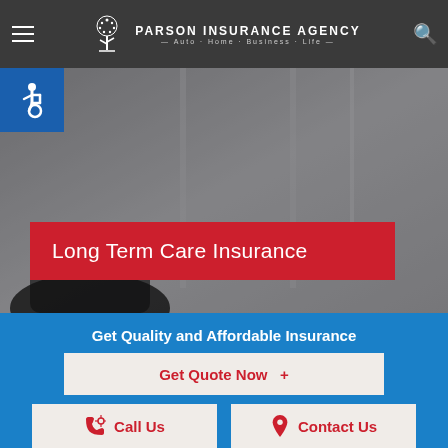Parson Insurance Agency — Auto · Home · Business · Life
[Figure (screenshot): Accessibility wheelchair icon badge, blue background, top-left corner]
[Figure (photo): Hero background photo of a blurred office/building interior in grey tones with a dark silhouette figure at the bottom]
Long Term Care Insurance
Get Quality and Affordable Insurance
Get Quote Now  +
Call Us
Contact Us